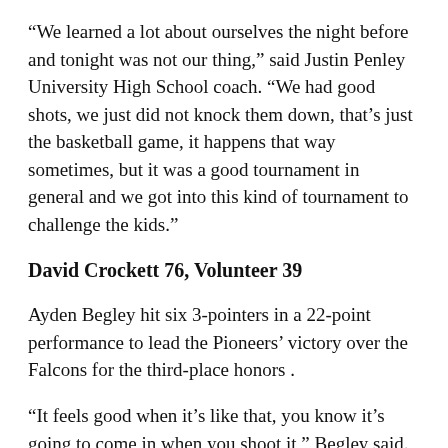“We learned a lot about ourselves the night before and tonight was not our thing,” said Justin Penley University High School coach. “We had good shots, we just did not knock them down, that’s just the basketball game, it happens that way sometimes, but it was a good tournament in general and we got into this kind of tournament to challenge the kids.”
David Crockett 76, Volunteer 39
Ayden Begley hit six 3-pointers in a 22-point performance to lead the Pioneers’ victory over the Falcons for the third-place honors .
“It feels good when it’s like that, you know it’s going to come in when you shoot it,” Begley said. “After the game the night before, I went home, rested a bit and concentrated.”